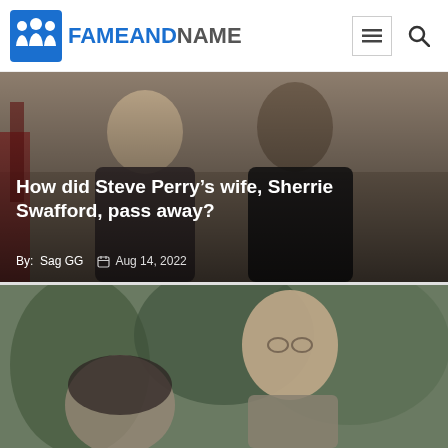FameAndName
[Figure (photo): A man and woman looking at each other outdoors, vintage photo style]
How did Steve Perry's wife, Sherrie Swafford, pass away?
By: Sag GG  Aug 14, 2022
[Figure (photo): A smiling man with glasses outdoors with trees in background]